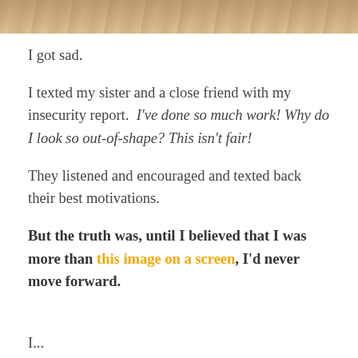[Figure (photo): Partial photo strip at top of page showing a blurred/cropped image, warm tones]
I got sad.
I texted my sister and a close friend with my insecurity report. I've done so much work! Why do I look so out-of-shape? This isn't fair!
They listened and encouraged and texted back their best motivations.
But the truth was, until I believed that I was more than this image on a screen, I'd never move forward.
I...